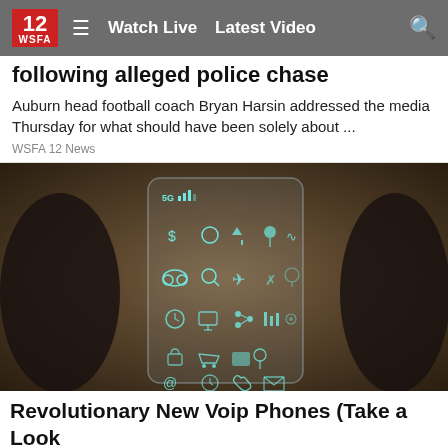12 WSFA | Watch Live | Latest Video
following alleged police chase
Auburn head football coach Bryan Harsin addressed the media Thursday for what should have been solely about ...
WSFA 12 News
[Figure (photo): Hand holding a transparent futuristic smartphone with glowing 5G icon and various app icons visible through the glass screen]
Revolutionary New Voip Phones (Take a Look